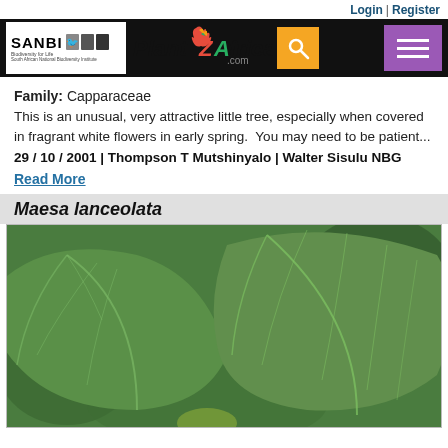Login | Register
[Figure (logo): SANBI PlantZAfrica.com navigation bar with search and menu buttons]
Family: Capparaceae
This is an unusual, very attractive little tree, especially when covered in fragrant white flowers in early spring.  You may need to be patient...
29 / 10 / 2001 | Thompson T Mutshinyalo | Walter Sisulu NBG
Read More
Maesa lanceolata
[Figure (photo): Close-up photograph of large green leaves of Maesa lanceolata plant]